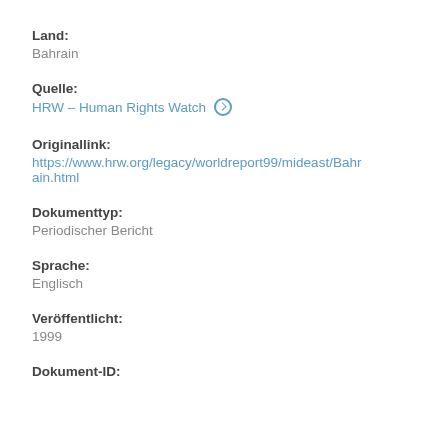Land:
Bahrain
Quelle:
HRW – Human Rights Watch
Originallink:
https://www.hrw.org/legacy/worldreport99/mideast/Bahrain.html
Dokumenttyp:
Periodischer Bericht
Sprache:
Englisch
Veröffentlicht:
1999
Dokument-ID: